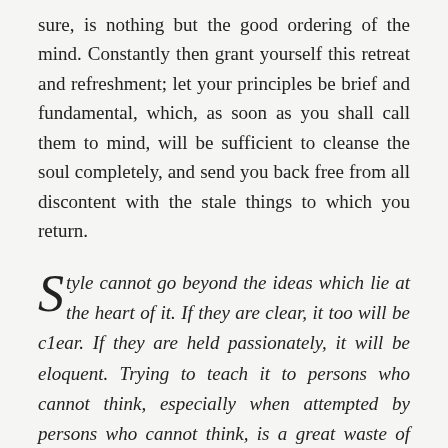sure, is nothing but the good ordering of the mind. Constantly then grant yourself this retreat and refreshment; let your principles be brief and fundamental, which, as soon as you shall call them to mind, will be sufficient to cleanse the soul completely, and send you back free from all discontent with the stale things to which you return.
Style cannot go beyond the ideas which lie at the heart of it. If they are clear, it too will be c1ear. If they are held passionately, it will be eloquent. Trying to teach it to persons who cannot think, especially when attempted by persons who cannot think, is a great waste of time.
It would be far more logical to devote all the energy to teaching, not writing, but logic. For I doubt that the art of